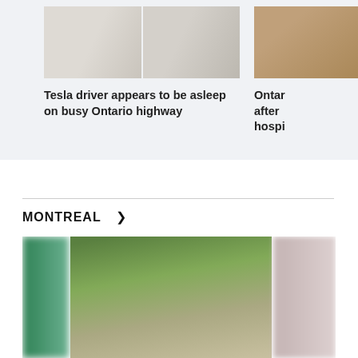[Figure (photo): Two photos of a Tesla car on a highway, side by side]
Tesla driver appears to be asleep on busy Ontario highway
[Figure (photo): Partial photo on right side, cut off — appears to be a person or object]
Ontar after hospi
MONTREAL >
[Figure (photo): Three photos in a row: blurred green on left, center photo of bald man giving thumbs up sitting outdoors, blurred pink on right]